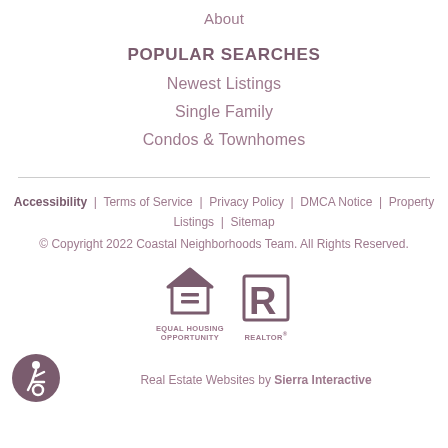About
POPULAR SEARCHES
Newest Listings
Single Family
Condos & Townhomes
Accessibility | Terms of Service | Privacy Policy | DMCA Notice | Property Listings | Sitemap
© Copyright 2022 Coastal Neighborhoods Team. All Rights Reserved.
Real Estate Websites by Sierra Interactive
[Figure (logo): Equal Housing Opportunity logo and REALTOR logo side by side]
[Figure (logo): Accessibility icon in purple circle]